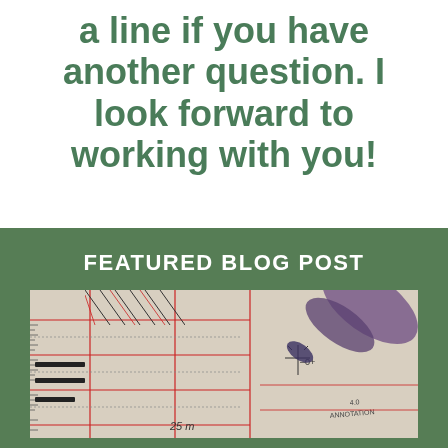a line if you have another question. I look forward to working with you!
FEATURED BLOG POST
[Figure (photo): Close-up photo of an engineering/architectural drawing blueprint with red grid lines, a pen or marker, and measurement annotations including '25 m' visible on the technical drawing paper.]